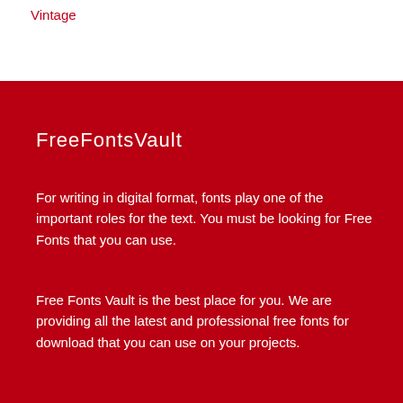Vintage
FreeFontsVault
For writing in digital format, fonts play one of the important roles for the text. You must be looking for Free Fonts that you can use.
Free Fonts Vault is the best place for you. We are providing all the latest and professional free fonts for download that you can use on your projects.
Quick Menu